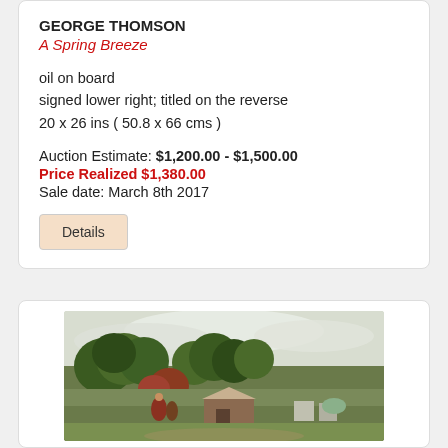GEORGE THOMSON
A Spring Breeze
oil on board
signed lower right; titled on the reverse
20 x 26 ins ( 50.8 x 66 cms )
Auction Estimate: $1,200.00 - $1,500.00
Price Realized $1,380.00
Sale date: March 8th 2017
Details
[Figure (photo): Oil painting showing a rural landscape with trees, a barn, and figures in the foreground under a cloudy sky]